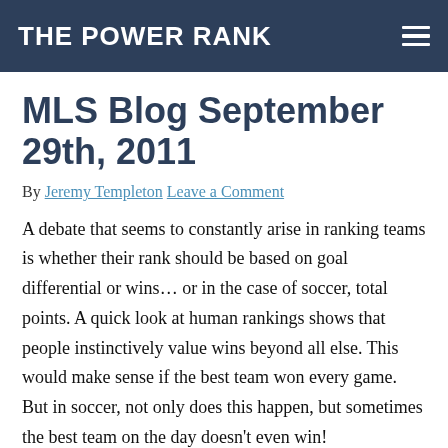THE POWER RANK
MLS Blog September 29th, 2011
By Jeremy Templeton Leave a Comment
A debate that seems to constantly arise in ranking teams is whether their rank should be based on goal differential or wins… or in the case of soccer, total points. A quick look at human rankings shows that people instinctively value wins beyond all else. This would make sense if the best team won every game. But in soccer, not only does this happen, but sometimes the best team on the day doesn't even win!